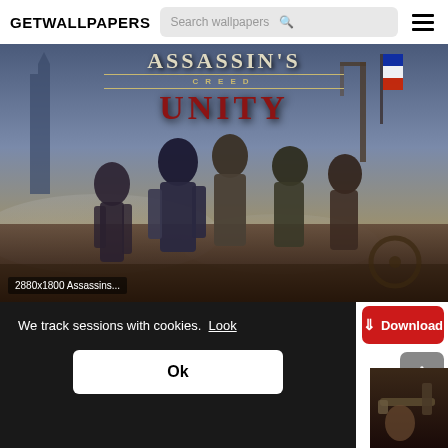GETWALLPAPERS
[Figure (screenshot): Assassin's Creed Unity game wallpaper poster showing four assassin characters in French Revolution setting with the game title text 'ASSASSIN'S CREED UNITY' at the top. Label reads '2880x1800 Assassins...']
2880x1800 Assassins...
We track sessions with cookies. Look
Ok
Download
[Figure (screenshot): Partial bottom image showing another wallpaper with a character holding a weapon]